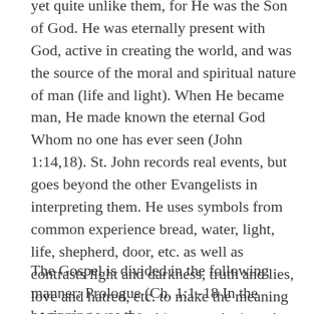yet quite unlike them, for He was the Son of God. He was eternally present with God, active in creating the world, and was the source of the moral and spiritual nature of man (life and light). When He became man, He made known the eternal God Whom no one has ever seen (John 1:14,18). St. John records real events, but goes beyond the other Evangelists in interpreting them. He uses symbols from common experience bread, water, light, life, shepherd, door, etc. as well as contrasts light and darkness, truth and lies, love and hatred, etc. to make the meaning of Christ clear. For this reason he is aptly called by the Church the Theologian.
The Gospel is divided in the following manner: Prologue (Ch. 1:1–18 In the beginning was the